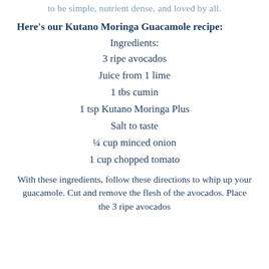to be simple, nutrient dense, and loved by all.
Here's our Kutano Moringa Guacamole recipe:
Ingredients:
3 ripe avocados
Juice from 1 lime
1 tbs cumin
1 tsp Kutano Moringa Plus
Salt to taste
¼ cup minced onion
1 cup chopped tomato
With these ingredients, follow these directions to whip up your guacamole. Cut and remove the flesh of the avocados. Place the 3 ripe avocados